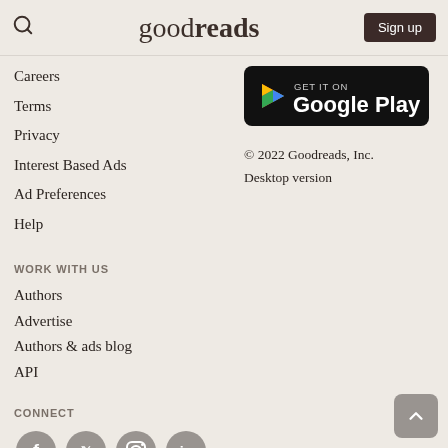goodreads | Sign up
Careers
Terms
Privacy
Interest Based Ads
Ad Preferences
Help
[Figure (logo): Get it on Google Play badge — black rounded rectangle with Google Play triangle logo and text 'GET IT ON Google Play']
© 2022 Goodreads, Inc.
Desktop version
WORK WITH US
Authors
Advertise
Authors & ads blog
API
CONNECT
[Figure (illustration): Social media icons: Facebook, Twitter, Instagram, LinkedIn — grey circles with white icons]